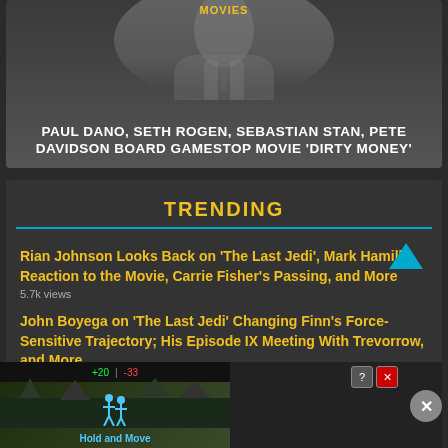[Figure (photo): Movie article card with dark background, person silhouette, category label MOVIES in yellow, and article title in white uppercase text]
MOVIES
PAUL DANO, SETH ROGEN, SEBASTIAN STAN, PETE DAVIDSON BOARD GAMESTOP MOVIE 'DIRTY MONEY'
TRENDING
Rian Johnson Looks Back on ‘The Last Jedi’, Mark Hamill’s Reaction to the Movie, Carrie Fisher’s Passing, and More
5.7k views
John Boyega on ‘The Last Jedi’ Changing Finn’s Force-Sensitive Trajectory; His Episode IX Meeting With Trevorrow, and More
5.2k views